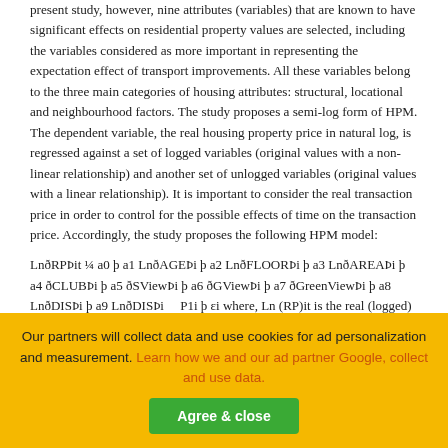present study, however, nine attributes (variables) that are known to have significant effects on residential property values are selected, including the variables considered as more important in representing the expectation effect of transport improvements. All these variables belong to the three main categories of housing attributes: structural, locational and neighbourhood factors. The study proposes a semi-log form of HPM. The dependent variable, the real housing property price in natural log, is regressed against a set of logged variables (original values with a non-linear relationship) and another set of unlogged variables (original values with a linear relationship). It is important to consider the real transaction price in order to control for the possible effects of time on the transaction price. Accordingly, the study proposes the following HPM model:
LnðRPÞit ¼ a0 þ a1 LnðAGEÞi þ a2 LnðFLOORÞi þ a3 LnðAREAÞi þ a4 ðCLUBÞi þ a5 ðSViewÞi þ a6 ðGViewÞi þ a7 ðGreenViewÞi þ a8 LnðDISÞi þ a9 LnðDISÞi    P1i þ εi where, Ln (RP)it is the real (logged) transaction price of property i at time t (measured in
Our partners will collect data and use cookies for ad personalization and measurement. Learn how we and our ad partner Google, collect and use data.